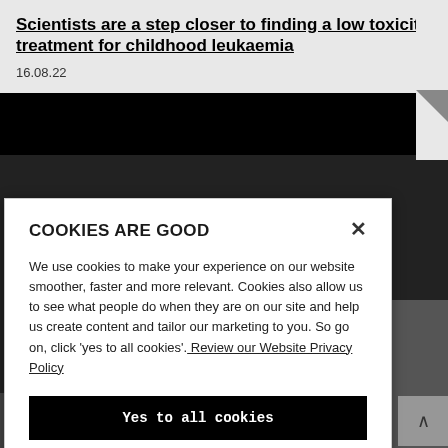Scientists are a step closer to finding a low toxicity treatment for childhood leukaemia
16.08.22
COOKIES ARE GOOD
We use cookies to make your experience on our website smoother, faster and more relevant. Cookies also allow us to see what people do when they are on our site and help us create content and tailor our marketing to you. So go on, click 'yes to all cookies'. Review our Website Privacy Policy
Yes to all cookies
Let me choose